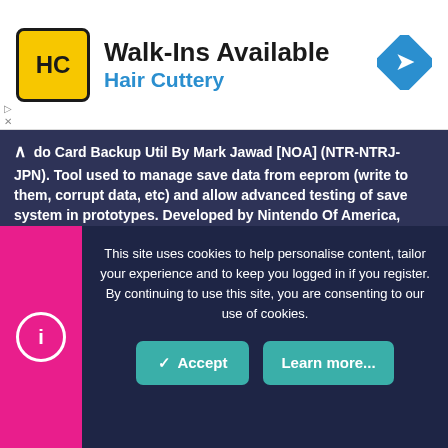[Figure (screenshot): Hair Cuttery advertisement banner with logo, 'Walk-Ins Available' headline, and navigation arrow icon]
do Card Backup Util By Mark Jawad [NOA] (NTR-NTRJ-JPN). Tool used to manage save data from eeprom (write to them, corrupt data, etc) and allow advanced testing of save system in prototypes. Developed by Nintendo Of America, maybe a private tool shared with only big publisher ? (or with the NTR sdk? i can't verify i wasn't able to get the NTR sdk).
Spoiler: Clic here to view photos of the prototype
Nintendo DSi family stuff - Part 1
This site uses cookies to help personalise content, tailor your experience and to keep you logged in if you register.
By continuing to use this site, you are consenting to our use of cookies.